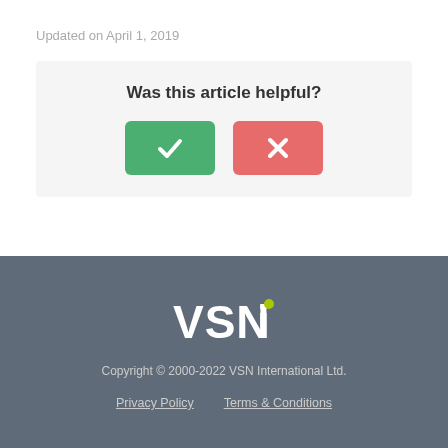Updated on April 1, 2019
[Figure (infographic): Was this article helpful? feedback box with green checkmark button and red X button]
VSNi logo — Copyright © 2000-2022 VSN International Ltd. — Privacy Policy | Terms & Conditions